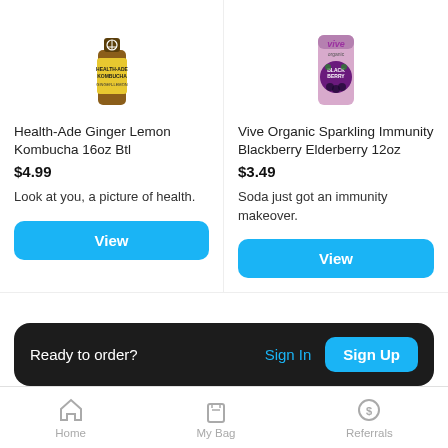[Figure (photo): Health-Ade Kombucha bottle with yellow label]
Health-Ade Ginger Lemon Kombucha 16oz Btl
$4.99
Look at you, a picture of health.
View
[Figure (photo): Vive Organic Sparkling Immunity Blackberry Elderberry pink can]
Vive Organic Sparkling Immunity Blackberry Elderberry 12oz
$3.49
Soda just got an immunity makeover.
View
[Figure (photo): AMAZ Yerba Mate can (yellow/gold)]
[Figure (photo): Eggs carton partially visible]
Ready to order?
Sign In
Sign Up
Home   My Bag   Referrals